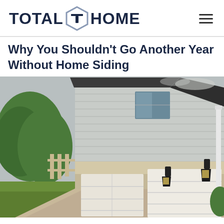TOTAL HOME
Why You Shouldn't Go Another Year Without Home Siding
[Figure (photo): Exterior of a two-story home showing gray horizontal vinyl siding on the garage area, two white garage doors, two wall-mounted black lantern lights, a white downspout, concrete driveway, and evergreen trees in the background on a cloudy day.]